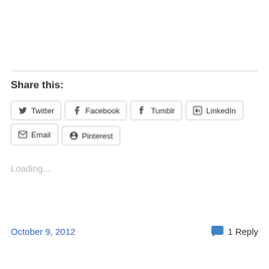Share this:
Twitter Facebook Tumblr LinkedIn Email Pinterest
Loading...
October 9, 2012
1 Reply